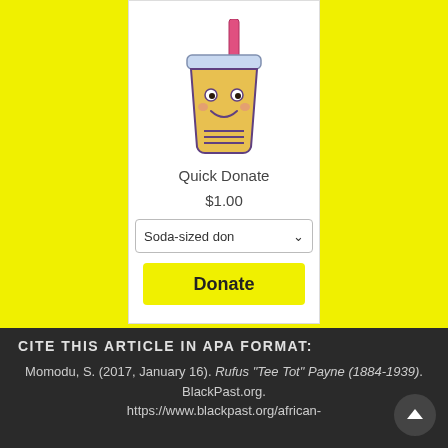[Figure (illustration): Kawaii-style smiling boba tea cup with a red straw, yellow body, and purple outline, displayed inside a white card on a yellow background]
Quick Donate
$1.00
Soda-sized don
Donate
CITE THIS ARTICLE IN APA FORMAT:
Momodu, S. (2017, January 16). Rufus "Tee Tot" Payne (1884-1939). BlackPast.org. https://www.blackpast.org/african-